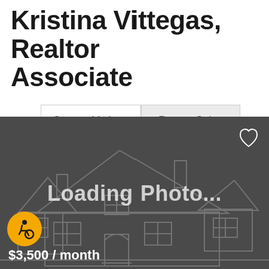Kristina Vittegas, Realtor Associate
Current Listings | Recent Sales
[Figure (screenshot): Loading Photo placeholder with house outline illustration on dark gray background, heart icon top-right, accessibility badge bottom-left, price $3,500 / month bottom-left]
$3,500 / month